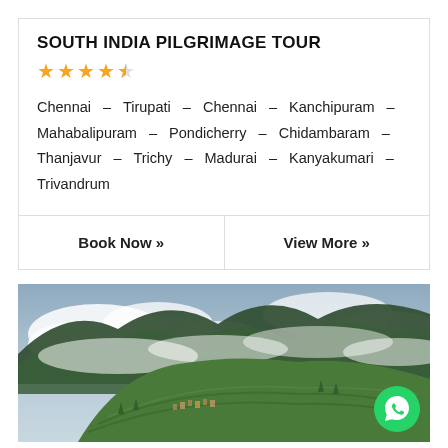SOUTH INDIA PILGRIMAGE TOUR
★★★★☆
Chennai – Tirupati – Chennai – Kanchipuram – Mahabalipuram – Pondicherry – Chidambaram – Thanjavur – Trichy – Madurai – Kanyakumari – Trivandrum
Book Now »
View More »
[Figure (photo): Scenic mountain landscape with terraced green hillsides, misty clouds wrapping around mountain peaks, and small settlement visible on terraced slopes.]